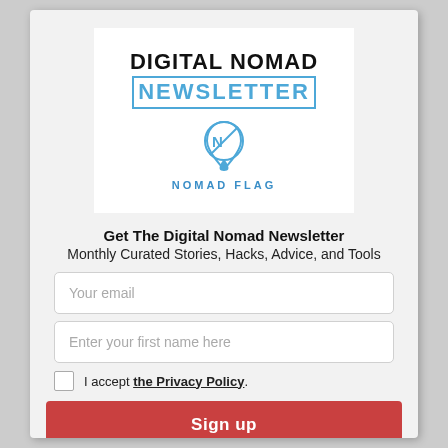[Figure (logo): Digital Nomad Newsletter logo with Nomad Flag icon — bold black 'DIGITAL NOMAD' text above outlined blue 'NEWSLETTER' text, below a blue map-pin icon with N and a diagonal line, labeled 'NOMAD FLAG']
Get The Digital Nomad Newsletter
Monthly Curated Stories, Hacks, Advice, and Tools
Your email
Enter your first name here
I accept the Privacy Policy.
Sign up